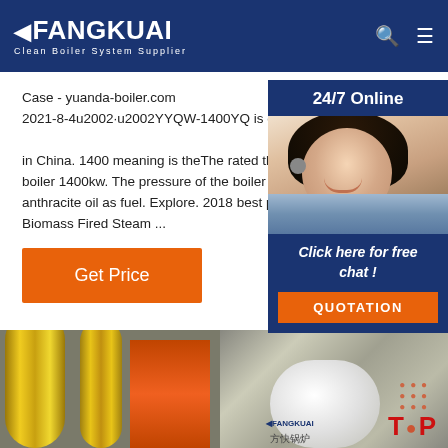FANGKUAI Clean Boiler System Supplier
Case - yuanda-boiler.com 2021-8-4u2002·u2002YYQW-1400YQ is one type of oil fired boiler in China. 1400 meaning is theThe rated thermal boiler 1400kw. The pressure of the boiler is 0.8M anthracite oil as fuel. Explore. 2018 best price 8 Biomass Fired Steam ...
Get Price
[Figure (photo): Industrial boiler facility with yellow pipes, orange pipes, and white cylindrical boiler vessels with Chinese branding (Fangkuai)]
24/7 Online
Click here for free chat !
QUOTATION
TOP